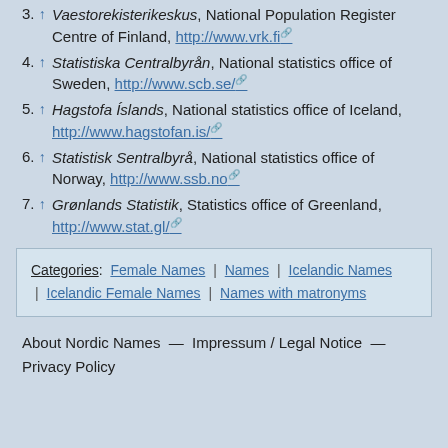3. ↑ Vaestorekisterikeskus, National Population Register Centre of Finland, http://www.vrk.fi
4. ↑ Statistiska Centralbyrån, National statistics office of Sweden, http://www.scb.se/
5. ↑ Hagstofa Íslands, National statistics office of Iceland, http://www.hagstofan.is/
6. ↑ Statistisk Sentralbyrå, National statistics office of Norway, http://www.ssb.no
7. ↑ Grønlands Statistik, Statistics office of Greenland, http://www.stat.gl/
Categories: Female Names | Names | Icelandic Names | Icelandic Female Names | Names with matronyms
About Nordic Names — Impressum / Legal Notice — Privacy Policy